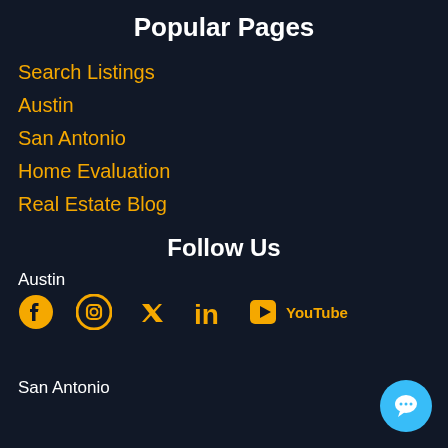Popular Pages
Search Listings
Austin
San Antonio
Home Evaluation
Real Estate Blog
Follow Us
Austin
[Figure (infographic): Social media icons row for Austin: Facebook, Instagram, Twitter, LinkedIn, YouTube]
San Antonio
[Figure (infographic): Chat button - blue circle with speech bubble icon in bottom right corner]